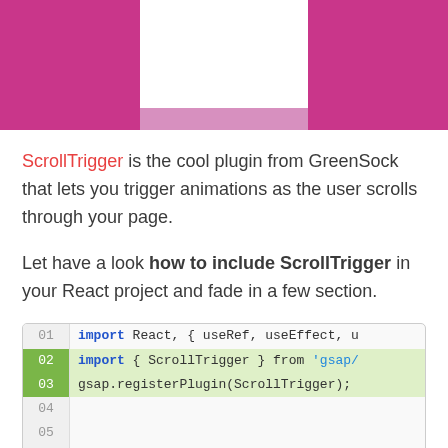[Figure (illustration): Pink/magenta hero banner with a white rectangle in the center top portion and a lighter pink strip below it.]
ScrollTrigger is the cool plugin from GreenSock that lets you trigger animations as the user scrolls through your page.
Let have a look how to include ScrollTrigger in your React project and fade in a few section.
[Figure (screenshot): Code editor block showing lines 01-09 with JavaScript/React import statements and a const sections array. Lines 02 and 03 are highlighted in green.]